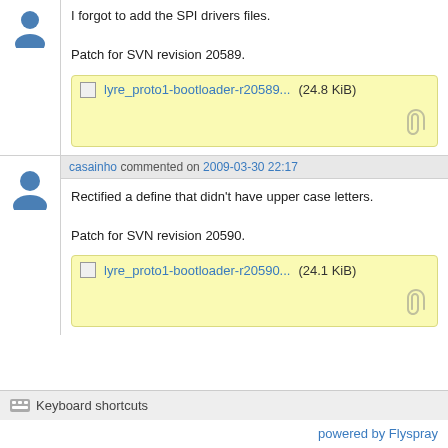I forgot to add the SPI drivers files.

Patch for SVN revision 20589.
[Figure (other): Attachment box with file lyre_proto1-bootloader-r20589... (24.8 KiB) and paperclip icon]
casainho commented on 2009-03-30 22:17
Rectified a define that didn't have upper case letters.

Patch for SVN revision 20590.
[Figure (other): Attachment box with file lyre_proto1-bootloader-r20590... (24.1 KiB) and paperclip icon]
Keyboard shortcuts
powered by Flyspray